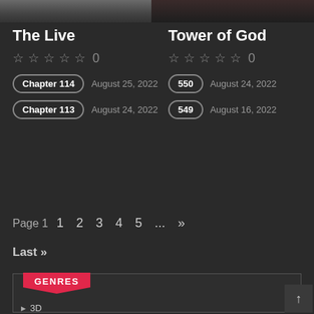[Figure (photo): Partial top image strip showing two manga/comic cover images cropped at top]
The Live
☆☆☆☆☆ 0
Chapter 114  August 25, 2022
Chapter 113  August 24, 2022
Tower of God
☆☆☆☆☆ 0
550  August 24, 2022
549  August 16, 2022
Page 1  1  2  3  4  5  ...  »
Last »
GENRES
3D